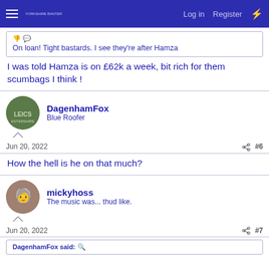Log in  Register
On loan! Tight bastards. I see they're after Hamza
I was told Hamza is on £62k a week, bit rich for them scumbags I think !
DagenhamFox
Blue Roofer
Jun 20, 2022  #6
How the hell is he on that much?
mickyhoss
The music was... thud like.
Jun 20, 2022  #7
DagenhamFox said: